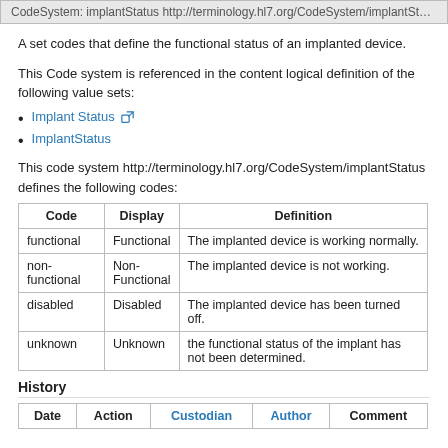CodeSystem: implantStatus http://terminology.hl7.org/CodeSystem/implantStatus
A set codes that define the functional status of an implanted device.
This Code system is referenced in the content logical definition of the following value sets:
Implant Status
ImplantStatus
This code system http://terminology.hl7.org/CodeSystem/implantStatus defines the following codes:
| Code | Display | Definition |
| --- | --- | --- |
| functional | Functional | The implanted device is working normally. |
| non-functional | Non-Functional | The implanted device is not working. |
| disabled | Disabled | The implanted device has been turned off. |
| unknown | Unknown | the functional status of the implant has not been determined. |
History
| Date | Action | Custodian | Author | Comment |
| --- | --- | --- | --- | --- |